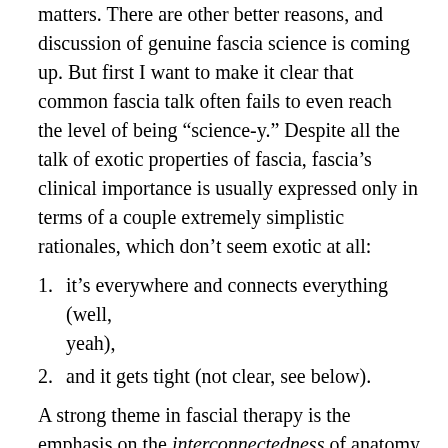matters. There are other better reasons, and discussion of genuine fascia science is coming up. But first I want to make it clear that common fascia talk often fails to even reach the level of being “science-y.” Despite all the talk of exotic properties of fascia, fascia’s clinical importance is usually expressed only in terms of a couple extremely simplistic rationales, which don’t seem exotic at all:
1. it’s everywhere and connects everything (well, yeah),
2. and it gets tight (not clear, see below).
A strong theme in fascial therapy is the emphasis on the interconnectedness of anatomy via fascia, always making the point that pulling on any one part of fascia affects the whole